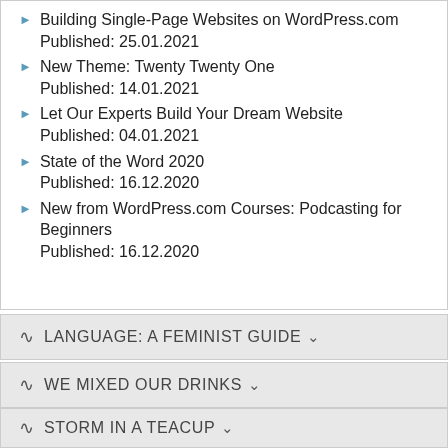Building Single-Page Websites on WordPress.com
Published: 25.01.2021
New Theme: Twenty Twenty One
Published: 14.01.2021
Let Our Experts Build Your Dream Website
Published: 04.01.2021
State of the Word 2020
Published: 16.12.2020
New from WordPress.com Courses: Podcasting for Beginners
Published: 16.12.2020
LANGUAGE: A FEMINIST GUIDE
WE MIXED OUR DRINKS
STORM IN A TEACUP
MAIRI VOICE